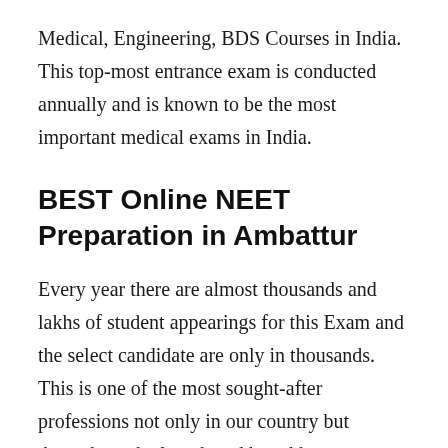Medical, Engineering, BDS Courses in India. This top-most entrance exam is conducted annually and is known to be the most important medical exams in India.
BEST Online NEET Preparation in Ambattur
Every year there are almost thousands and lakhs of student appearings for this Exam and the select candidate are only in thousands. This is one of the most sought-after professions not only in our country but throughout the length and breadths